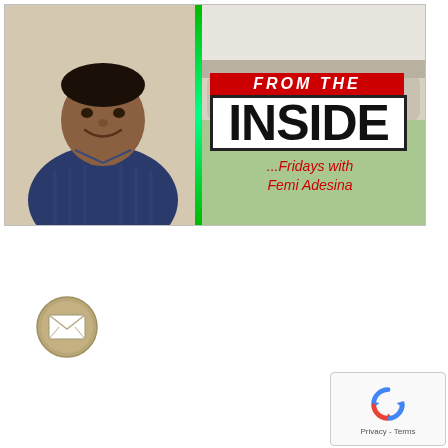[Figure (illustration): Banner image for 'From The Inside - Fridays with Femi Adesina' column. Left side shows a photo of a man (Femi Adesina) in a dark blue striped outfit, smiling. A green vertical stripe divides the image. Right side shows a building (Aso Rock Presidential Villa) in the background with the column branding: red banner with 'FROM THE' in white italic text, then 'INSIDE' in large bold black letters in a box, and '...Fridays with Femi Adesina' in red italic text below.]
[Figure (illustration): Email/envelope icon - circular golden/tan colored icon with an envelope symbol in white]
[Figure (illustration): Google reCAPTCHA widget showing the reCAPTCHA logo with 'Privacy - Terms' text]